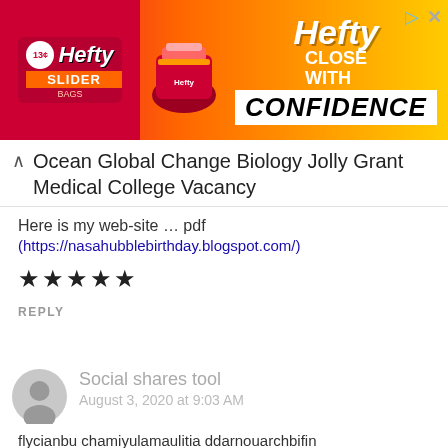[Figure (illustration): Hefty Slider Bags advertisement banner with red and yellow gradient background, Hefty logo on left, 'CLOSE WITH CONFIDENCE' text on right]
Ocean Global Change Biology Jolly Grant Medical College Vacancy
Here is my web-site … pdf
(https://nasahubblebirthday.blogspot.com/)
★★★★★
REPLY
Social shares tool
August 3, 2020 at 9:03 AM
flycianbu chamiyulamaulitia ddarnouarchbifin